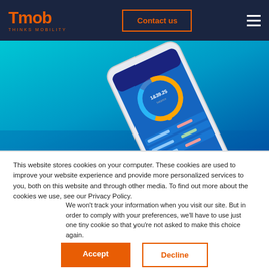Tmob THINKS MOBILITY | Contact us
[Figure (screenshot): Mobile phone showing a financial/balance app with a donut chart and transaction list on a teal-blue gradient background.]
This website stores cookies on your computer. These cookies are used to improve your website experience and provide more personalized services to you, both on this website and through other media. To find out more about the cookies we use, see our Privacy Policy.
We won't track your information when you visit our site. But in order to comply with your preferences, we'll have to use just one tiny cookie so that you're not asked to make this choice again.
Accept
Decline